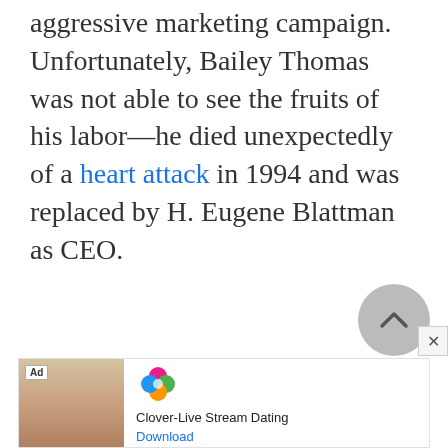aggressive marketing campaign. Unfortunately, Bailey Thomas was not able to see the fruits of his labor—he died unexpectedly of a heart attack in 1994 and was replaced by H. Eugene Blattman as CEO.
[Figure (other): Scroll-to-top circular button with chevron/caret up icon, grey background]
[Figure (other): Advertisement banner for Clover-Live Stream Dating app showing a woman's photo, the Clover four-leaf clover logo in pink/green/orange/blue, app name, and Download link]